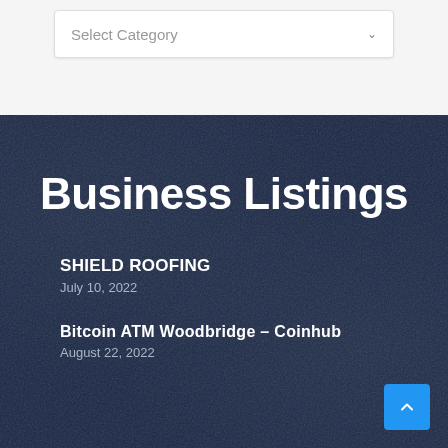[Figure (screenshot): Select Category dropdown input box with placeholder text and dropdown arrow]
Business Listings
SHIELD ROOFING
July 10, 2022
Bitcoin ATM Woodbridge – Coinhub
August 22, 2022